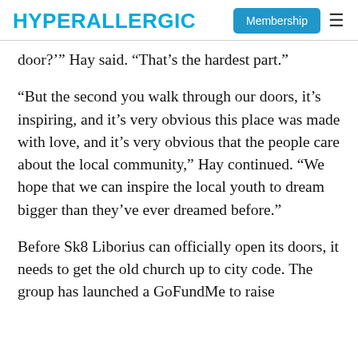HYPERALLERGIC | Membership
door?'" Hay said. "That's the hardest part."
“But the second you walk through our doors, it’s inspiring, and it’s very obvious this place was made with love, and it’s very obvious that the people care about the local community,” Hay continued. “We hope that we can inspire the local youth to dream bigger than they’ve ever dreamed before.”
Before Sk8 Liborius can officially open its doors, it needs to get the old church up to city code. The group has launched a GoFundMe to raise